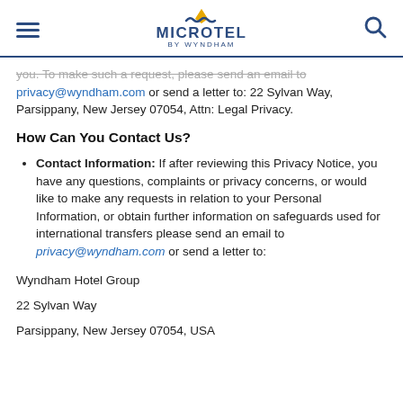Microtel by Wyndham
you. To make such a request, please send an email to privacy@wyndham.com or send a letter to: 22 Sylvan Way, Parsippany, New Jersey 07054, Attn: Legal Privacy.
How Can You Contact Us?
Contact Information: If after reviewing this Privacy Notice, you have any questions, complaints or privacy concerns, or would like to make any requests in relation to your Personal Information, or obtain further information on safeguards used for international transfers please send an email to privacy@wyndham.com or send a letter to:
Wyndham Hotel Group
22 Sylvan Way
Parsippany, New Jersey 07054, USA